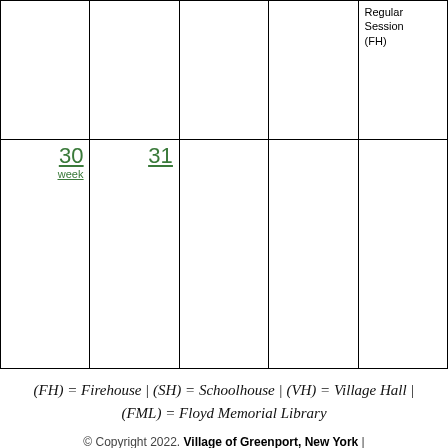| Sun | Mon | Tue | Wed | Thu |
| --- | --- | --- | --- | --- |
|  |  |  |  | Regular Session (FH) |
| 30
week | 31 |  |  |  |
(FH) = Firehouse | (SH) = Schoolhouse | (VH) = Village Hall | (FML) = Floyd Memorial Library
© Copyright 2022. Village of Greenport, New York | All Rights Reserved | Site Map
This website is designed and maintained by the PRMG. Long Island Advertising Agency.